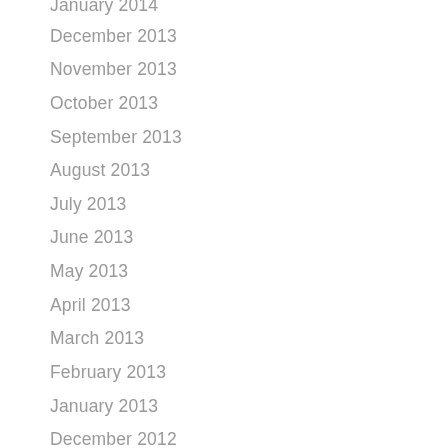January 2014
December 2013
November 2013
October 2013
September 2013
August 2013
July 2013
June 2013
May 2013
April 2013
March 2013
February 2013
January 2013
December 2012
November 2012